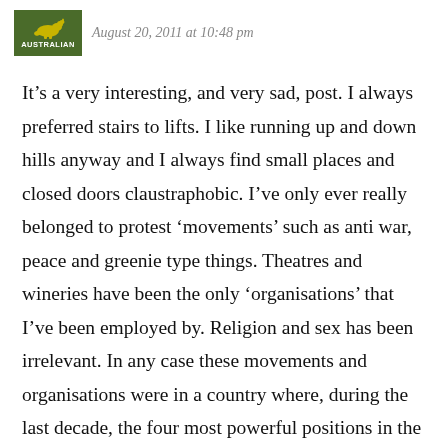August 20, 2011 at 10:48 pm
It’s a very interesting, and very sad, post. I always preferred stairs to lifts. I like running up and down hills anyway and I always find small places and closed doors claustraphobic. I’ve only ever really belonged to protest ‘movements’ such as anti war, peace and greenie type things. Theatres and wineries have been the only ‘organisations’ that I’ve been employed by. Religion and sex has been irrelevant. In any case these movements and organisations were in a country where, during the last decade, the four most powerful positions in the country were held by